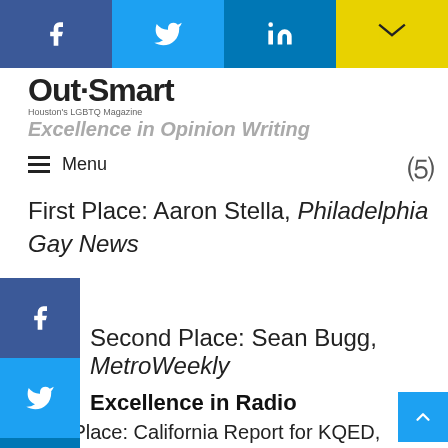[Figure (other): Top social share bar with Facebook, Twitter, LinkedIn, and email icons]
OutSmart - Houston's LGBTQ Magazine
Excellence in Opinion Writing
Menu
First Place: Aaron Stella, Philadelphia Gay News
[Figure (other): Left sidebar social share icons: Facebook, Twitter, LinkedIn]
Second Place: Sean Bugg, MetroWeekly
Excellence in Radio
First Place: California Report for KQED, “AIDS at 30”